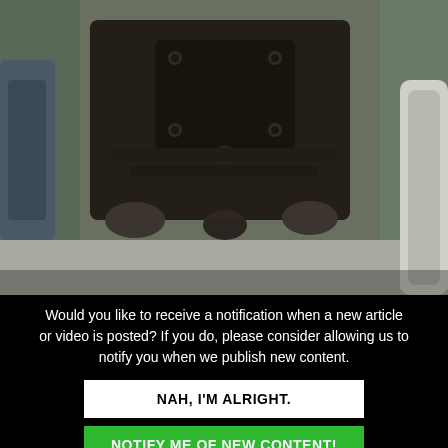[Figure (photo): Underside/undercarriage of a vehicle showing rusted metal components, differential or transmission housing, suspension parts, and exhaust system components viewed from below.]
Would you like to receive a notification when a new article or video is posted? If you do, please consider allowing us to notify you when we publish new content.
NAH, I'M ALRIGHT.
NOTIFY ME OF NEW CONTENT!